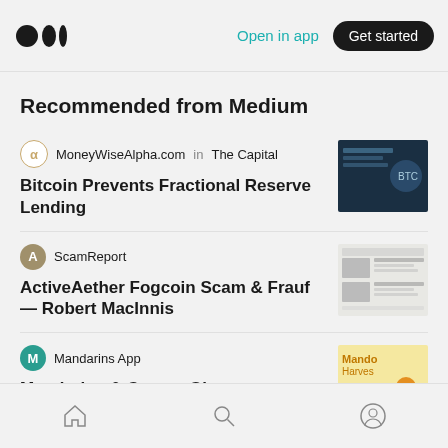Medium — Open in app | Get started
Recommended from Medium
MoneyWiseAlpha.com in The Capital
Bitcoin Prevents Fractional Reserve Lending
[Figure (photo): Dark themed article thumbnail with text Bitcoin Prevents Fractional Reserve Lending]
ScamReport
ActiveAether Fogcoin Scam & Frauf— Robert MacInnis
[Figure (screenshot): Newspaper/article style thumbnail showing faces and text]
Mandarins App
Mandarins & Canary Giveaway
[Figure (illustration): Yellow themed Mandarins Harvest illustration]
Home | Search | Profile